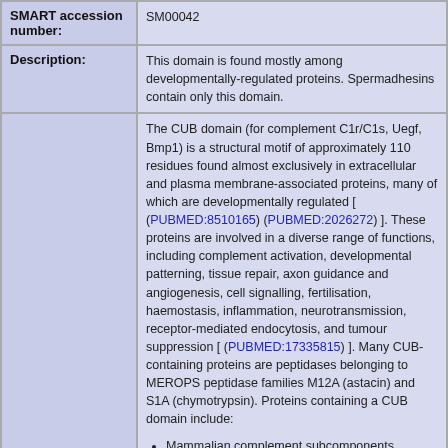| Field | Value |
| --- | --- |
| SMART accession number: | SM00042 |
| Description: | This domain is found mostly among developmentally-regulated proteins. Spermadhesins contain only this domain. |
|  | The CUB domain (for complement C1r/C1s, Uegf, Bmp1) is a structural motif of approximately 110 residues found almost exclusively in extracellular and plasma membrane-associated proteins, many of which are developmentally regulated [ (PUBMED:8510165) (PUBMED:2026272) ]. These proteins are involved in a diverse range of functions, including complement activation, developmental patterning, tissue repair, axon guidance and angiogenesis, cell signalling, fertilisation, haemostasis, inflammation, neurotransmission, receptor-mediated endocytosis, and tumour suppression [ (PUBMED:17335815) ]. Many CUB-containing proteins are peptidases belonging to MEROPS peptidase families M12A (astacin) and S1A (chymotrypsin). Proteins containing a CUB domain include: [list items] |